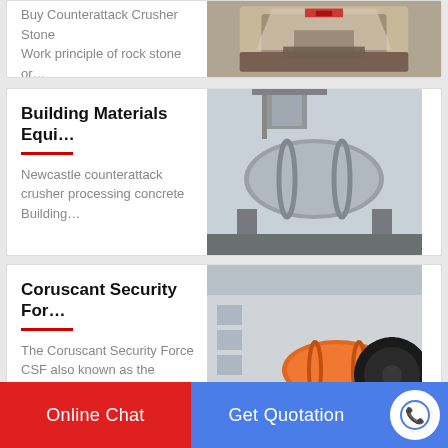Buy Counterattack Crusher Stone
Work principle of rock stone or…
[Figure (photo): Industrial stone crusher machine, cream/beige colored, outdoor setting]
Building Materials Equi…
Newcastle counterattack crusher processing concrete Building…
[Figure (photo): Large industrial rotary kiln or drum, gray, outdoor industrial setting]
Coruscant Security For…
The Coruscant Security Force CSF also known as the Corusc…
[Figure (photo): Orange ball mill industrial machine, large black gear, industrial building background]
Online Chat   Get Quotation